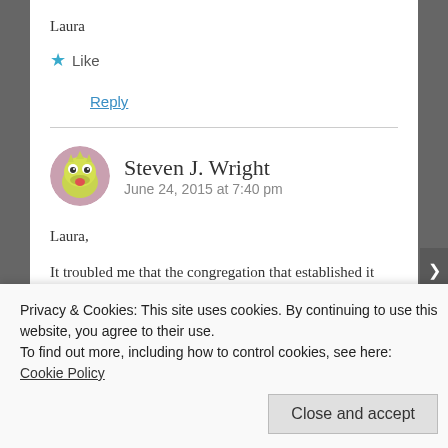Laura
★ Like
Reply
Steven J. Wright
June 24, 2015 at 7:40 pm
Laura,

It troubled me that the congregation that established it does not care for it
Privacy & Cookies: This site uses cookies. By continuing to use this website, you agree to their use.
To find out more, including how to control cookies, see here: Cookie Policy
Close and accept